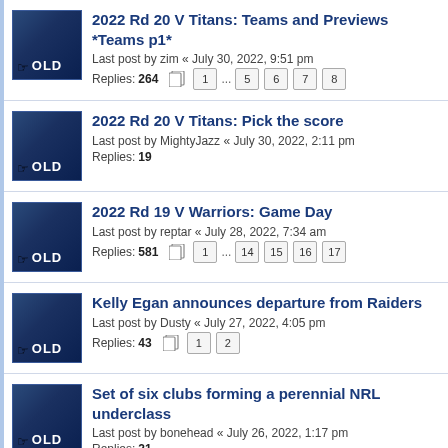2022 Rd 20 V Titans: Teams and Previews *Teams p1*
Last post by zim « July 30, 2022, 9:51 pm
Replies: 264
Pages: 1 ... 5 6 7 8
2022 Rd 20 V Titans: Pick the score
Last post by MightyJazz « July 30, 2022, 2:11 pm
Replies: 19
2022 Rd 19 V Warriors: Game Day
Last post by reptar « July 28, 2022, 7:34 am
Replies: 581
Pages: 1 ... 14 15 16 17
Kelly Egan announces departure from Raiders
Last post by Dusty « July 27, 2022, 4:05 pm
Replies: 43
Pages: 1 2
Set of six clubs forming a perennial NRL underclass
Last post by bonehead « July 26, 2022, 1:17 pm
Replies: 21
2022 Rd 19 V Warriors: Fans' Choice